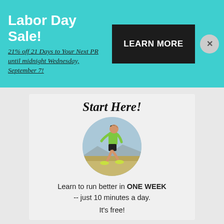Labor Day Sale!
21% off 21 Days to Your Next PR until midnight Wednesday, September 7!
LEARN MORE
Start Here!
[Figure (photo): Circular cropped photo of a runner in a green shirt and black shorts jogging outdoors]
Learn to run better in ONE WEEK -- just 10 minutes a day.
It's free!